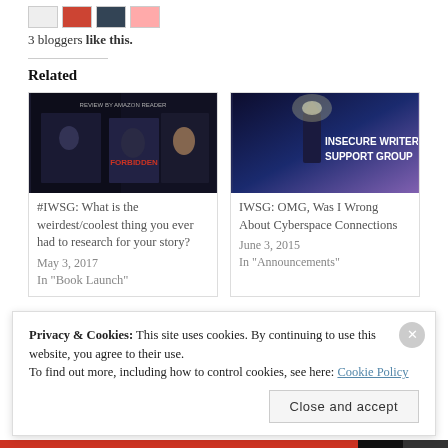3 bloggers like this.
Related
[Figure (illustration): Book cover collage with text 'REVIEW BY AMAZON READER' and dark thriller imagery]
#IWSG: What is the weirdest/coolest thing you ever had to research for your story?
May 3, 2017
In "Book Launch"
[Figure (illustration): Insecure Writer's Support Group banner with lighthouse and blue/purple gradient]
IWSG: OMG, Was I Wrong About Cyberspace Connections
June 3, 2015
In "Announcements"
Privacy & Cookies: This site uses cookies. By continuing to use this website, you agree to their use.
To find out more, including how to control cookies, see here: Cookie Policy